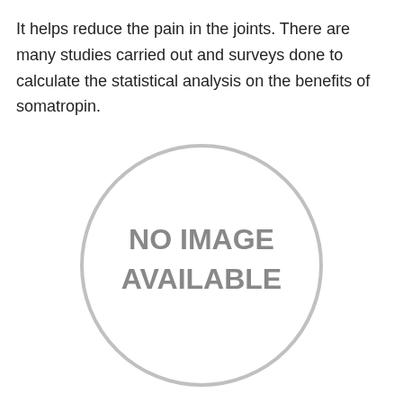It helps reduce the pain in the joints. There are many studies carried out and surveys done to calculate the statistical analysis on the benefits of somatropin.
[Figure (illustration): A circular placeholder image with text 'NO IMAGE AVAILABLE' inside, outlined with a light gray circle border.]